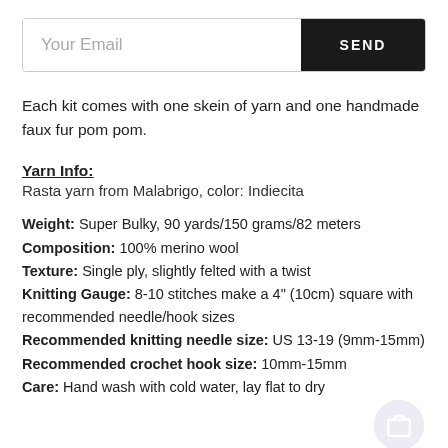Your Email
SEND
Each kit comes with one skein of yarn and one handmade faux fur pom pom.
Yarn Info:
Rasta yarn from Malabrigo, color: Indiecita
Weight: Super Bulky, 90 yards/150 grams/82 meters
Composition: 100% merino wool
Texture: Single ply, slightly felted with a twist
Knitting Gauge: 8-10 stitches make a 4" (10cm) square with recommended needle/hook sizes
Recommended knitting needle size: US 13-19 (9mm-15mm)
Recommended crochet hook size: 10mm-15mm
Care: Hand wash with cold water, lay flat to dry